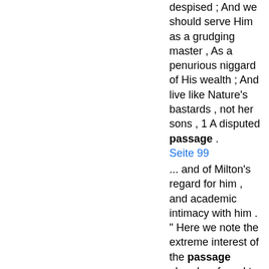despised ; And we should serve Him as a grudging master , As a penurious niggard of His wealth ; And live like Nature's bastards , not her sons , 1 A disputed passage .
Seite 99
... and of Milton's regard for him , and academic intimacy with him . " Here we note the extreme interest of the passage already referred to — the passage beginning : " For we were nursed upon the 99 MILTON & HIS POETRY.
Weiter »
Wo ist der Rest dieses Buches?